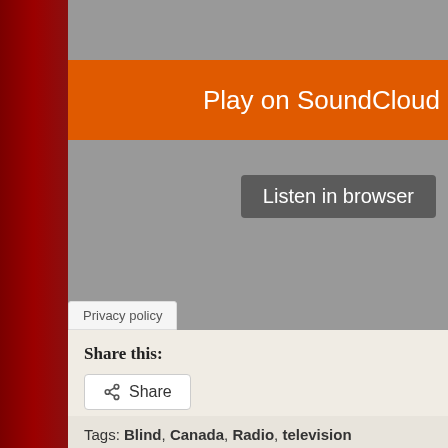[Figure (screenshot): SoundCloud embedded player screenshot showing an orange 'Play on SoundCloud' button and a grey 'Listen in browser' button on a grey background]
Privacy policy
Share this:
Share
Tags: Blind, Canada, Radio, television